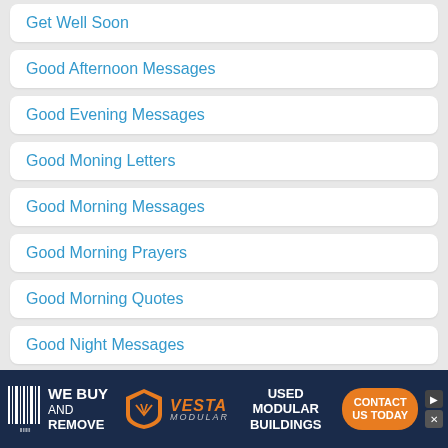Get Well Soon
Good Afternoon Messages
Good Evening Messages
Good Moning Letters
Good Morning Messages
Good Morning Prayers
Good Morning Quotes
Good Night Messages
Good Night Quotes
[Figure (infographic): Advertisement banner: WE BUY AND REMOVE VESTA MODULAR - USED MODULAR BUILDINGS - CONTACT US TODAY]